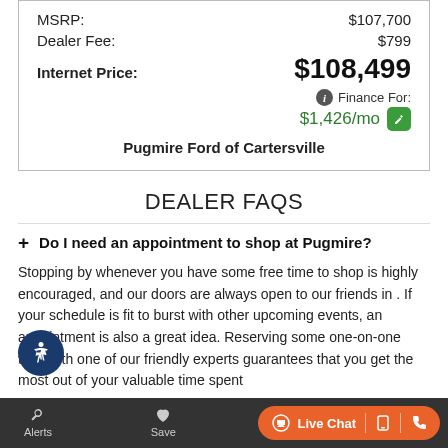| MSRP: | $107,700 |
| Dealer Fee: | $799 |
| Internet Price: | $108,499 |
Finance For: $1,426/mo
Pugmire Ford of Cartersville
DEALER FAQS
+ Do I need an appointment to shop at Pugmire?
Stopping by whenever you have some free time to shop is highly encouraged, and our doors are always open to our friends in . If your schedule is fit to burst with other upcoming events, an appointment is also a great idea. Reserving some one-on-one time with one of our friendly experts guarantees that you get the most out of your valuable time spent
Alerts  Save  Live Chat  [phone icon]  [call icon]